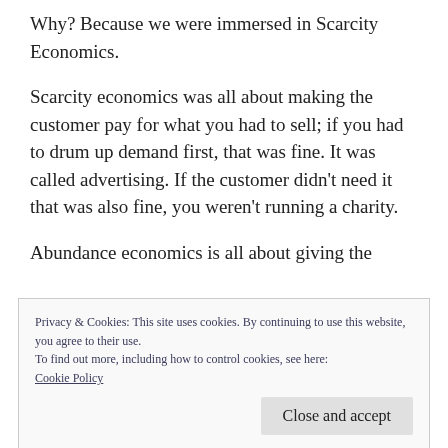Why? Because we were immersed in Scarcity Economics.
Scarcity economics was all about making the customer pay for what you had to sell; if you had to drum up demand first, that was fine. It was called advertising. If the customer didn't need it that was also fine, you weren't running a charity.
Abundance economics is all about giving the
Privacy & Cookies: This site uses cookies. By continuing to use this website, you agree to their use.
To find out more, including how to control cookies, see here:
Cookie Policy
Close and accept